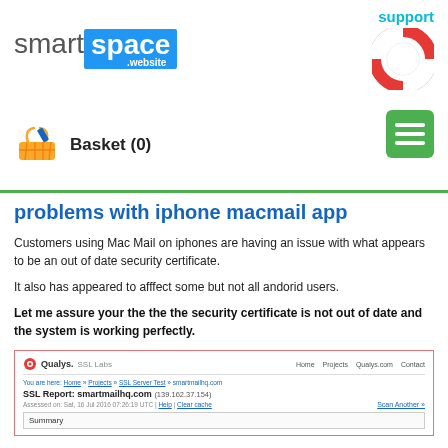support
[Figure (logo): smart space .website logo — 'smart' in grey, 'space' in blue box, '.website' in white on blue]
[Figure (illustration): Red and white life preserver ring icon]
[Figure (illustration): Yellow shopping basket icon]
Basket (0)
[Figure (illustration): Green hamburger menu button with three white lines]
problems with iphone macmail app
Customers using Mac Mail on iphones are having an issue with what appears to be an out of date security certificate.
It also has appeared to afffect some but not all andorid users.
Let me assure your the the the security certificate is not out of date and the system is working perfectly.
[Figure (screenshot): Screenshot of Qualys SSL Labs SSL Report for smartmailhq.com (139.162.37.154) showing Summary section]